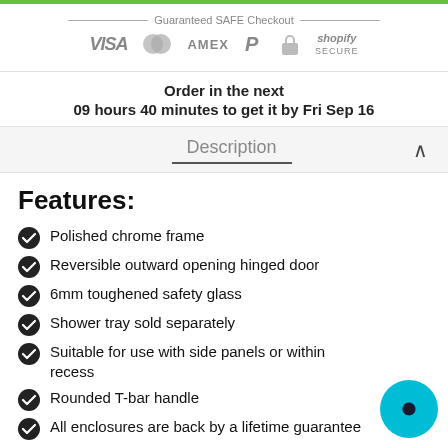[Figure (infographic): Guaranteed SAFE Checkout banner with payment icons: VISA, Mastercard, AMEX, PayPal, lock icon, Shopify Secure]
Order in the next
09 hours 40 minutes to get it by Fri Sep 16
Description
Features:
Polished chrome frame
Reversible outward opening hinged door
6mm toughened safety glass
Shower tray sold separately
Suitable for use with side panels or within recess
Rounded T-bar handle
All enclosures are back by a lifetime guarantee